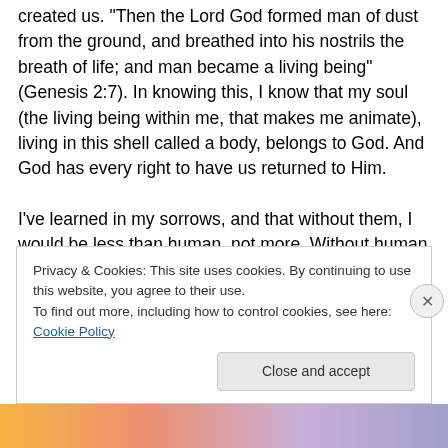created us.  "Then the Lord God formed man of dust from the ground, and breathed into his nostrils the breath of life; and man became a living being" (Genesis 2:7).  In knowing this, I know that my soul (the living being within me, that makes me animate), living in this shell called a body, belongs to God.  And God has every right to have us returned to Him.
I've learned in my sorrows, and that without them, I would be less than human, not more.  Without human sorrows, we haven't loved enough, felt compassion enough or been in a relationship with other God-breathed sisters and
Privacy & Cookies: This site uses cookies. By continuing to use this website, you agree to their use.
To find out more, including how to control cookies, see here: Cookie Policy
Close and accept